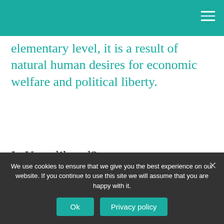elementary level, it is a result of natural human desires for economic welfare and political liberty.
Is Kant liberal?
Defending Kant's Classical Liberalism. Because he is widely regarded as a strict and demanding moralist, and because his political philosophy is not as well-known as his ethics, Immanuel Kant is not as frequently
We use cookies to ensure that we give you the best experience on our website. If you continue to use this site we will assume that you are happy with it.